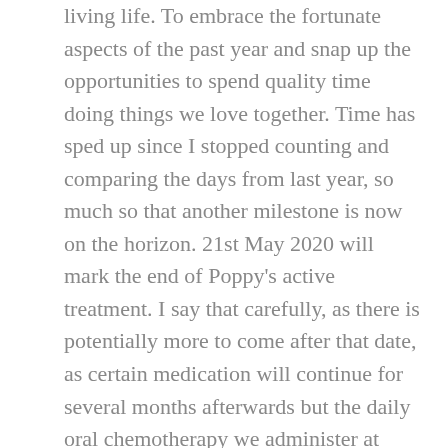living life. To embrace the fortunate aspects of the past year and snap up the opportunities to spend quality time doing things we love together. Time has sped up since I stopped counting and comparing the days from last year, so much so that another milestone is now on the horizon. 21st May 2020 will mark the end of Poppy's active treatment. I say that carefully, as there is potentially more to come after that date, as certain medication will continue for several months afterwards but the daily oral chemotherapy we administer at home will certainly come to an end that day.

We are just days away from being a year away from the end of treatment. It may still be a long way off, but it certainly feels in my mind at least that we will be beginning to count down towards that monumental day in our family calendar. There will only be one of each month left to come, one June, one July, one August